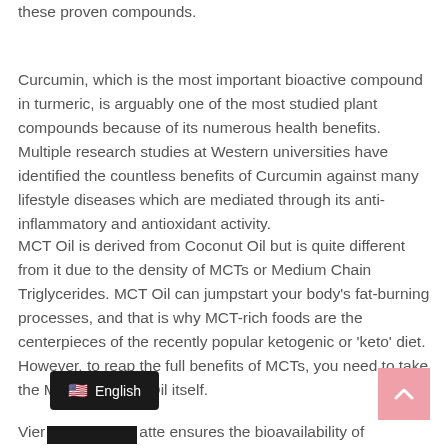these proven compounds.
Curcumin, which is the most important bioactive compound in turmeric, is arguably one of the most studied plant compounds because of its numerous health benefits. Multiple research studies at Western universities have identified the countless benefits of Curcumin against many lifestyle diseases which are mediated through its anti-inflammatory and antioxidant activity.
MCT Oil is derived from Coconut Oil but is quite different from it due to the density of MCTs or Medium Chain Triglycerides. MCT Oil can jumpstart your body's fat-burning processes, and that is why MCT-rich foods are the centerpieces of the recently popular ketogenic or 'keto' diet. However, to reap the full benefits of MCTs, you need to take the MCT-rich MCT Oil itself.
Vier... atte ensures the bioavailability of